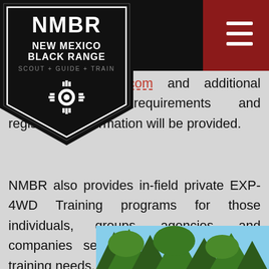[Figure (logo): NMBR New Mexico Black Range Scout + Guide + Train shield logo, black background with white zia sun symbol]
wmexicoblackrange.com and additional d…er/equipment requirements and registration information will be provided.
NMBR also provides in-field private EXP-4WD Training programs for those individuals, groups, agencies, and companies seeking specific dates and training needs. Contact NMBR for details.
[Figure (photo): Outdoor photo showing pine trees against a blue sky, bottom of page]